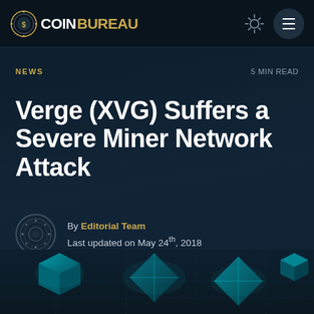COINBUREAU
NEWS
5 MIN READ
Verge (XVG) Suffers a Severe Miner Network Attack
By Editorial Team
Last updated on May 24th, 2018
[Figure (photo): Abstract digital/blockchain themed background image with cyan geometric shapes and circuit-like elements on dark background]